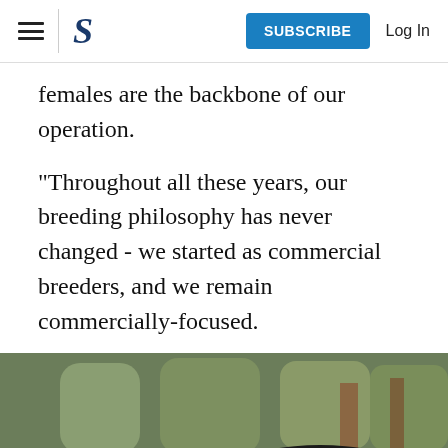S | SUBSCRIBE  Log In
females are the backbone of our operation.
"Throughout all these years, our breeding philosophy has never changed - we started as commercial breeders, and we remain commercially-focused.
[Figure (photo): Two black Angus cattle standing in a field with trees in the background. One cow has a blue ear tag.]